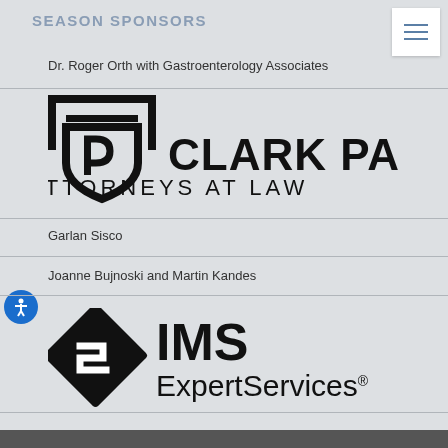SEASON SPONSORS
Dr. Roger Orth with Gastroenterology Associates
[Figure (logo): Clark Partington Attorneys at Law logo — shield emblem with stylized letters on the left, bold text CLARK PARTINGTON and ATTORNEYS AT LAW on the right]
Garlan Sisco
Joanne Bujnoski and Martin Kandes
[Figure (logo): IMS ExpertServices logo — diamond shape with angular S icon on the left, IMS in large bold text and ExpertServices in regular text on the right]